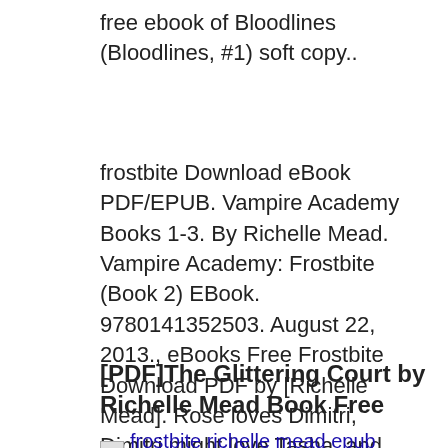free ebook of Bloodlines (Bloodlines, #1) soft copy..
frostbite Download eBook PDF/EPUB. Vampire Academy Books 1-3. By Richelle Mead. Vampire Academy: Frostbite (Book 2) EBook. 9780141352503. August 22, 2013., eBooks Free Frostbite Download PDF by [Richelle Mead]. Rose loves Dimitri, Dimitri might love Tasha, and Mason would die to be with Rose...It’s winter break a....
[PDF]The Glittering Court by Richelle Mead Book Free
[Figure (other): Small image thumbnail next to text link reading 'frostbite richelle mead epub download']